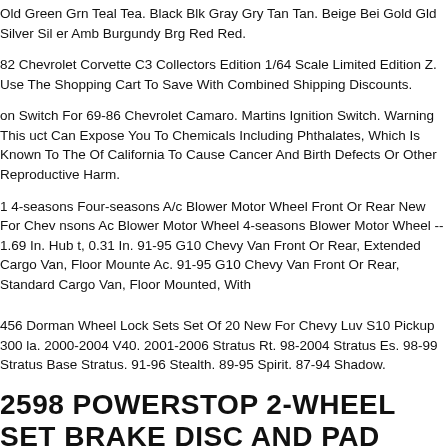Old Green Grn Teal Tea. Black Blk Gray Gry Tan Tan. Beige Bei Gold Gld Silver Sil er Amb Burgundy Brg Red Red.
82 Chevrolet Corvette C3 Collectors Edition 1/64 Scale Limited Edition Z. Use The Shopping Cart To Save With Combined Shipping Discounts.
on Switch For 69-86 Chevrolet Camaro. Martins Ignition Switch. Warning This uct Can Expose You To Chemicals Including Phthalates, Which Is Known To The Of California To Cause Cancer And Birth Defects Or Other Reproductive Harm.
1 4-seasons Four-seasons A/c Blower Motor Wheel Front Or Rear New For Chev nsons Ac Blower Motor Wheel 4-seasons Blower Motor Wheel -- 1.69 In. Hub t, 0.31 In. 91-95 G10 Chevy Van Front Or Rear, Extended Cargo Van, Floor Mounte Ac. 91-95 G10 Chevy Van Front Or Rear, Standard Cargo Van, Floor Mounted, With
456 Dorman Wheel Lock Sets Set Of 20 New For Chevy Luv S10 Pickup 300 la. 2000-2004 V40. 2001-2006 Stratus Rt. 98-2004 Stratus Es. 98-99 Stratus Base Stratus. 91-96 Stealth. 89-95 Spirit. 87-94 Shadow.
2598 POWERSTOP 2-WHEEL SET BRAKE DISC AND PAD KITS FRONT FOR CHEVY CORVETTE